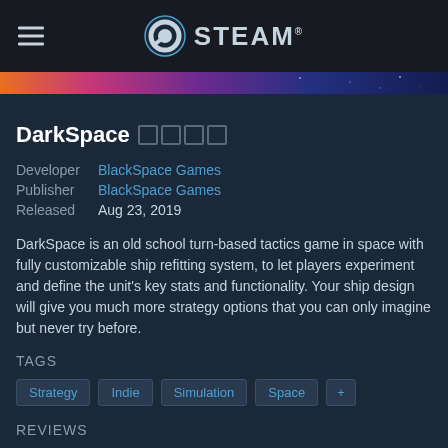STEAM®
[Figure (illustration): Colorful space-themed banner strip gradient from orange to purple to dark blue]
DarkSpace 🀫🀫🀫🀫
Developer  BlackSpace Games
Publisher  BlackSpace Games
Released  Aug 23, 2019
DarkSpace is an old school turn-based tactics game in space with fully customizable ship refitting system, to let players experiment and define the unit's key stats and functionality. Your ship design will give you much more strategy options that you can only imagine but never try before.
TAGS
Strategy
Indie
Simulation
Space
+
REVIEWS
4 user reviews () ALL TIME